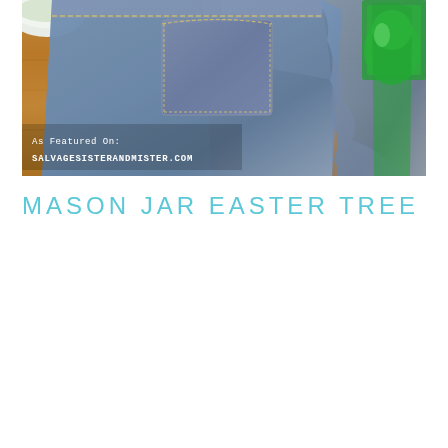[Figure (photo): Photo of denim jeans fabric draped on a wooden table surface, with green decorative items visible in the background top right and a white bowl at top left. Overlay text reads 'As Featured On: SALVAGESISTERANDMISTER.COM' in white monospace font at bottom left of the image.]
MASON JAR EASTER TREE